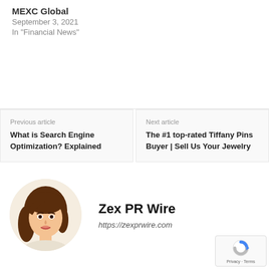MEXC Global
September 3, 2021
In "Financial News"
Previous article
What is Search Engine Optimization? Explained
Next article
The #1 top-rated Tiffany Pins Buyer | Sell Us Your Jewelry
[Figure (illustration): Illustrated avatar of a woman with brown hair, used as author profile picture for Zex PR Wire]
Zex PR Wire
https://zexprwire.com